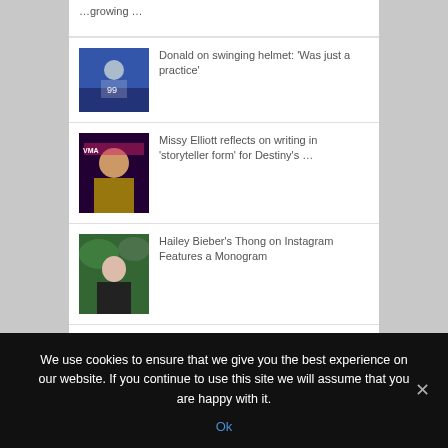…growing …
[Figure (photo): Football player on field with jersey number 99]
Donald on swinging helmet: 'Was just a practice'
[Figure (photo): Missy Elliott at an awards show]
Missy Elliott reflects on writing in 'storyteller form' for Destiny's …
[Figure (photo): Hailey Bieber close-up portrait in front of greenery]
Hailey Bieber's Thong on Instagram Features a Monogram
[Figure (photo): Partially visible thumbnail]
Hailey Bieber Set …
We use cookies to ensure that we give you the best experience on our website. If you continue to use this site we will assume that you are happy with it.
Ok